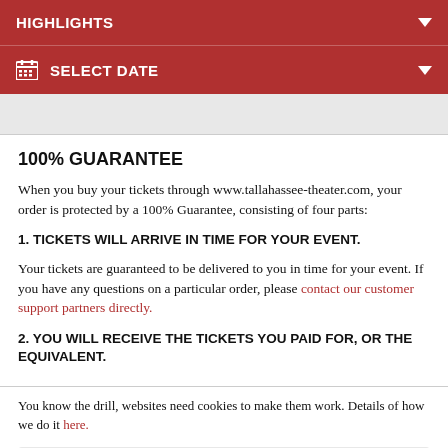HIGHLIGHTS
SELECT DATE
100% GUARANTEE
When you buy your tickets through www.tallahassee-theater.com, your order is protected by a 100% Guarantee, consisting of four parts:
1. TICKETS WILL ARRIVE IN TIME FOR YOUR EVENT.
Your tickets are guaranteed to be delivered to you in time for your event. If you have any questions on a particular order, please contact our customer support partners directly.
2. YOU WILL RECEIVE THE TICKETS YOU PAID FOR, OR THE EQUIVALENT.
You know the drill, websites need cookies to make them work. Details of how we do it here.
Got it!